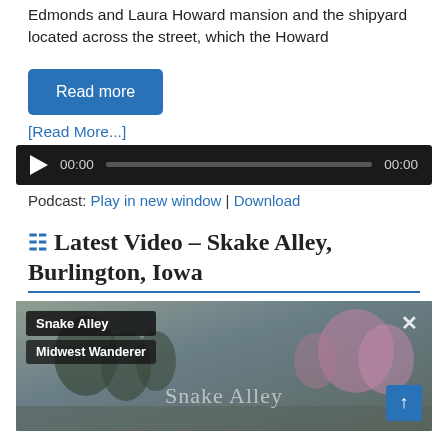Edmonds and Laura Howard mansion and the shipyard located across the street, which the Howard
[Figure (screenshot): Blue 'Read more' button]
[Read More...]
[Figure (screenshot): Audio player widget with play button, time 00:00, progress bar, and end time 00:00]
Podcast: Play in new window | Download
Latest Video – Skake Alley, Burlington, Iowa
[Figure (screenshot): Video thumbnail showing Snake Alley, Burlington Iowa. Labels 'Snake Alley' and 'Midwest Wanderer' on left, X button top right, 'Snake Alley' watermark text, and blue up-arrow button bottom right.]